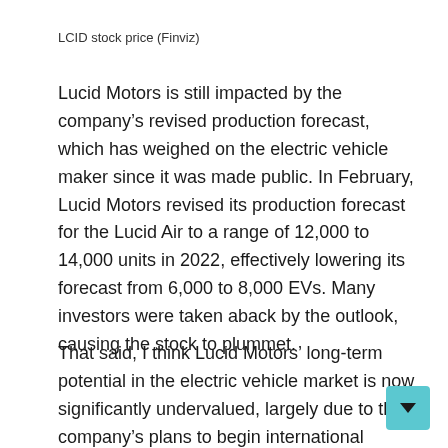LCID stock price (Finviz)
Lucid Motors is still impacted by the company’s revised production forecast, which has weighed on the electric vehicle maker since it was made public. In February, Lucid Motors revised its production forecast for the Lucid Air to a range of 12,000 to 14,000 units in 2022, effectively lowering its forecast from 6,000 to 8,000 EVs. Many investors were taken aback by the outlook, causing the stock to plummet.
That said, I think Lucid Motors’ long-term potential in the electric vehicle market is now significantly undervalued, largely due to the company’s plans to begin international